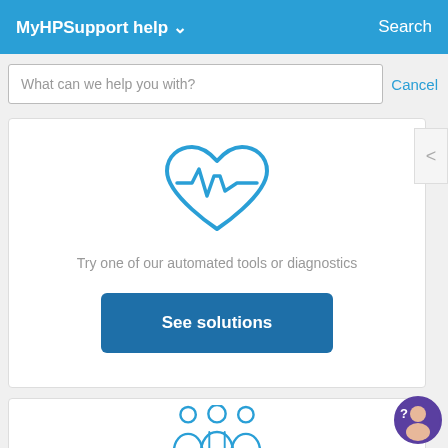MyHPSupport help  Search
What can we help you with?
Cancel
[Figure (illustration): Heart with EKG pulse line icon in blue outline style]
Try one of our automated tools or diagnostics
See solutions
[Figure (illustration): Group of three people / community icon in blue outline style]